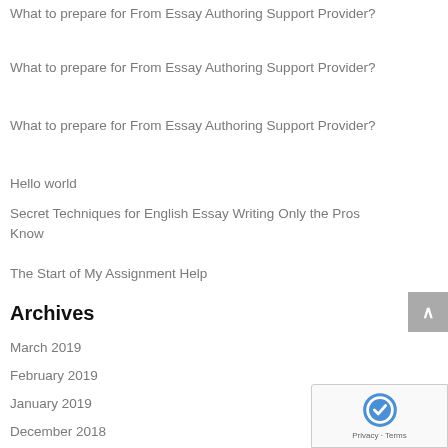What to prepare for From Essay Authoring Support Provider?
What to prepare for From Essay Authoring Support Provider?
What to prepare for From Essay Authoring Support Provider?
Hello world
Secret Techniques for English Essay Writing Only the Pros Know
The Start of My Assignment Help
Archives
March 2019
February 2019
January 2019
December 2018